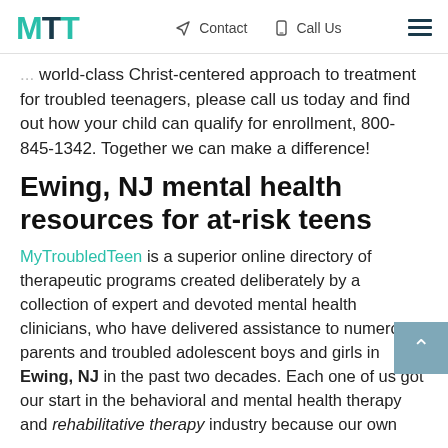MTT  Contact  Call Us  ☰
world-class Christ-centered approach to treatment for troubled teenagers, please call us today and find out how your child can qualify for enrollment, 800-845-1342. Together we can make a difference!
Ewing, NJ mental health resources for at-risk teens
MyTroubledTeen is a superior online directory of therapeutic programs created deliberately by a collection of expert and devoted mental health clinicians, who have delivered assistance to numerous parents and troubled adolescent boys and girls in Ewing, NJ in the past two decades. Each one of us got our start in the behavioral and mental health therapy and rehabilitative therapy industry because our own